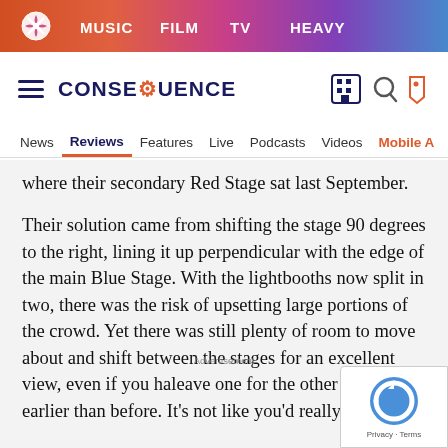[Figure (screenshot): Website header banner with gradient background (orange to pink to purple to blue) containing a white snowflake/starburst logo on left, and navigation links: MUSIC, FILM, TV, HEAVY in white bold text]
CONSEQUENCE — Navigation: News, Reviews, Features, Live, Podcasts, Videos, Mobile A
where their secondary Red Stage sat last September.
Their solution came from shifting the stage 90 degrees to the right, lining it up perpendicular with the edge of the main Blue Stage. With the lightbooths now split in two, there was the risk of upsetting large portions of the crowd. Yet there was still plenty of room to move about and shift between the stages for an excellent view, even if you ha leave one for the other a bit earlier than before. It's not like you'd really miss much